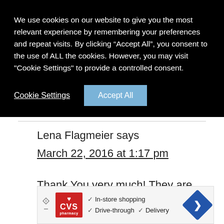We use cookies on our website to give you the most relevant experience by remembering your preferences and repeat visits. By clicking “Accept All”, you consent to the use of ALL the cookies. However, you may visit "Cookie Settings" to provide a controlled consent.
Cookie Settings
Accept All
Lena Flagmeier says
March 22, 2016 at 1:17 pm
Thank You very much! They are lovely! <3
[Figure (screenshot): CVS Pharmacy advertisement banner showing in-store shopping, drive-through, and delivery options with a navigation arrow icon]